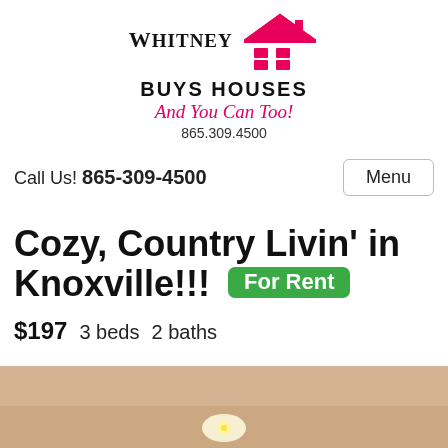[Figure (logo): Whitney Buys Houses logo with pink house icon, text 'WHITNEY BUYS HOUSES And You Can Too!' and phone number 865.309.4500]
Call Us! 865-309-4500
Menu
Cozy, Country Livin' in Knoxville!!! For Rent
$197  3 beds  2 baths
[Figure (photo): Interior photo showing a beige/cream ceiling with a recessed light fixture]